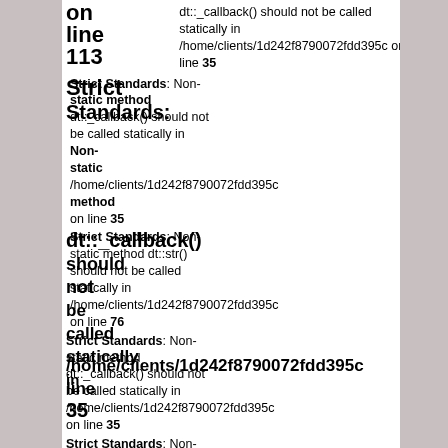dt::_callback() should not be called statically in /home/clients/1d242f8790072fdd395c on line 35
Strict Standards: Non-static method dt::_callback() should not be called statically in /home/clients/1d242f8790072fdd395c on line 35
Strict Standards: Non-static method dt::_callback() should not be called statically in /home/clients/1d242f8790072fdd395c on line 35
Strict Standards: Non-static method dt::str() should not be called statically in /home/clients/1d242f8790072fdd395c on line 76
Strict Standards: Non-static method dt::_callback() should not be called statically in /home/clients/1d242f8790072fdd395c on line 35
Strict Standards: Non-static method dt::_callback() should not be called statically in /home/clients/1d242f8790072fdd395c on line 35